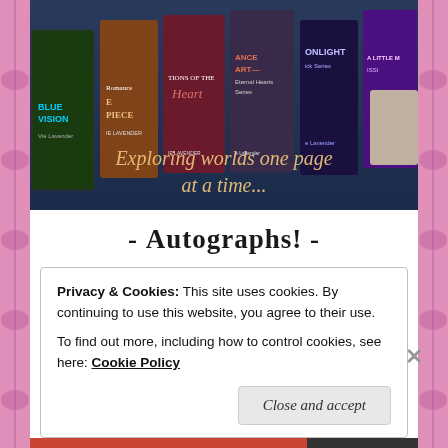[Figure (illustration): A banner image showing multiple book covers on tablet/phone devices arranged in a fan, with decorative text overlay reading 'Exploring worlds one page at a time...' in a golden cursive script on a dark blue background. Books include 'Blue Vision' and other romance/fiction titles by Lavender.]
- Autographs! -
Privacy & Cookies: This site uses cookies. By continuing to use this website, you agree to their use.
To find out more, including how to control cookies, see here: Cookie Policy
Close and accept